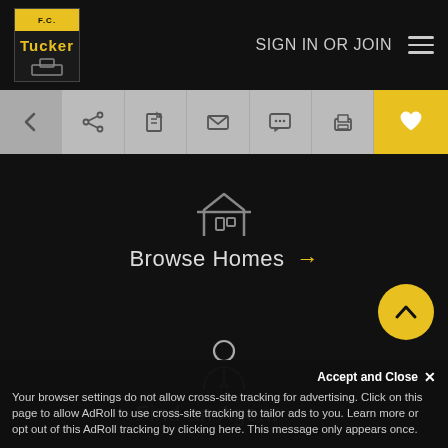F.C. Tucker - SIGN IN OR JOIN
[Figure (screenshot): Toolbar with back, share, edit, email, chat, print, and favorite (heart) buttons]
[Figure (illustration): Browse Homes icon (house outline) with arrow]
Browse Homes →
[Figure (illustration): Find an Agent icon (person with tie) with arrow]
Find an Agent →
Accept and Close ✕
Your browser settings do not allow cross-site tracking for advertising. Click on this page to allow AdRoll to use cross-site tracking to tailor ads to you. Learn more or opt out of this AdRoll tracking by clicking here. This message only appears once.